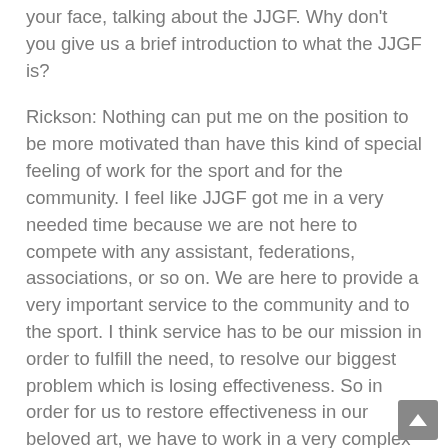your face, talking about the JJGF. Why don't you give us a brief introduction to what the JJGF is?
Rickson: Nothing can put me on the position to be more motivated than have this kind of special feeling of work for the sport and for the community. I feel like JJGF got me in a very needed time because we are not here to compete with any assistant, federations, associations, or so on. We are here to provide a very important service to the community and to the sport. I think service has to be our mission in order to fulfill the need, to resolve our biggest problem which is losing effectiveness. So in order for us to restore effectiveness in our beloved art, we have to work in a very complex way, and that is what the JJGF had been doing. We create a very nice digital platform to cover three different aspects of three different pillars of action. The first one is communication. Included in that communication aspect, we are going to try to inform the community with all the elements in jiu-jitsu from tournaments, to